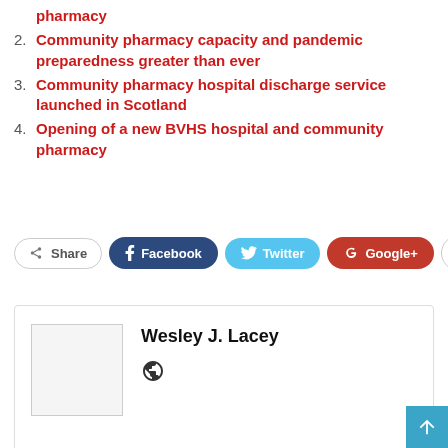pharmacy
2. Community pharmacy capacity and pandemic preparedness greater than ever
3. Community pharmacy hospital discharge service launched in Scotland
4. Opening of a new BVHS hospital and community pharmacy
[Figure (infographic): Social share buttons: Share, Facebook, Twitter, Google+, and a plus button]
Wesley J. Lacey